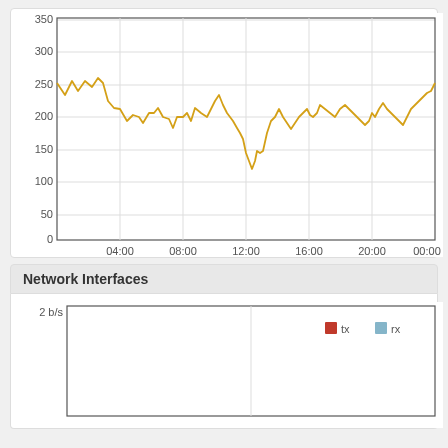[Figure (continuous-plot): Line chart showing values fluctuating around 230-250 range over a 24-hour period from 04:00 to 00:00+. Y-axis goes from 0 to 350 with gridlines at 50, 100, 150, 200, 250, 300, 350. X-axis shows times: 04:00, 08:00, 12:00, 16:00, 20:00, 00:00. A yellow/golden line fluctuates mostly between 200-260 with a notable dip to ~170 around 12:00.]
Network Interfaces
[Figure (continuous-plot): Line chart for Network Interfaces showing tx (red) and rx (blue) traffic at 2 b/s scale. Chart area mostly empty with vertical divider line around midpoint. Legend shows red square for tx and blue square for rx.]